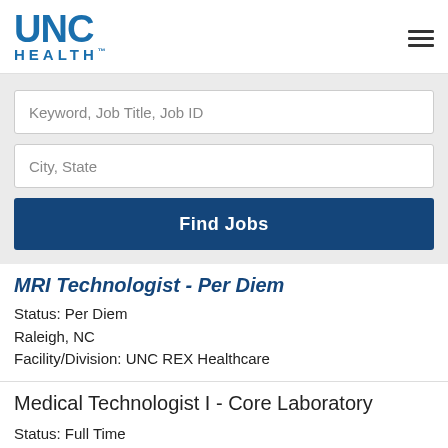[Figure (logo): UNC Health logo with blue bold UNC letters and HEALTH text below]
Keyword, Job Title, Job ID
City, State
Find Jobs
MRI Technologist - Per Diem
Status: Per Diem
Raleigh, NC
Facility/Division: UNC REX Healthcare
Medical Technologist I - Core Laboratory
Status: Full Time
Raleigh, NC